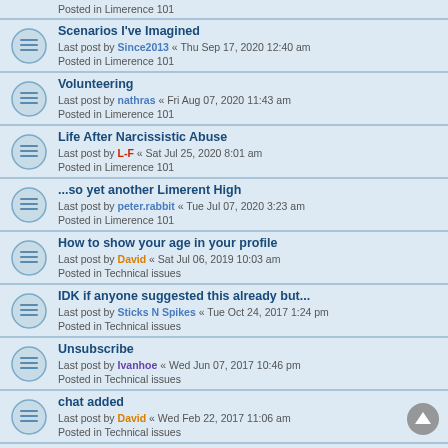Posted in Limerence 101 (partial top row)
Scenarios I've Imagined — Last post by Since2013 « Thu Sep 17, 2020 12:40 am — Posted in Limerence 101
Volunteering — Last post by nathras « Fri Aug 07, 2020 11:43 am — Posted in Limerence 101
Life After Narcissistic Abuse — Last post by L-F « Sat Jul 25, 2020 8:01 am — Posted in Limerence 101
...so yet another Limerent High — Last post by peter.rabbit « Tue Jul 07, 2020 3:23 am — Posted in Limerence 101
How to show your age in your profile — Last post by David « Sat Jul 06, 2019 10:03 am — Posted in Technical issues
IDK if anyone suggested this already but... — Last post by Sticks N Spikes « Tue Oct 24, 2017 1:24 pm — Posted in Technical issues
Unsubscribe — Last post by Ivanhoe « Wed Jun 07, 2017 10:46 pm — Posted in Technical issues
chat added — Last post by David « Wed Feb 22, 2017 11:06 am — Posted in Technical issues
Please report any inappropriate PMs... (partial bottom row)